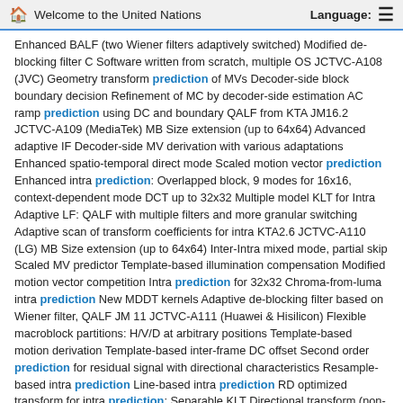Welcome to the United Nations   Language:
Enhanced BALF (two Wiener filters adaptively switched) Modified de-blocking filter C Software written from scratch, multiple OS JCTVC-A108 (JVC) Geometry transform prediction of MVs Decoder-side block boundary decision Refinement of MC by decoder-side estimation AC ramp prediction using DC and boundary QALF from KTA JM16.2 JCTVC-A109 (MediaTek) MB Size extension (up to 64x64) Advanced adaptive IF Decoder-side MV derivation with various adaptations Enhanced spatio-temporal direct mode Scaled motion vector prediction Enhanced intra prediction: Overlapped block, 9 modes for 16x16, context-dependent mode DCT up to 32x32 Multiple model KLT for Intra Adaptive LF: QALF with multiple filters and more granular switching Adaptive scan of transform coefficients for intra KTA2.6 JCTVC-A110 (LG) MB Size extension (up to 64x64) Inter-Intra mixed mode, partial skip Scaled MV predictor Template-based illumination compensation Modified motion vector competition Intra prediction for 32x32 Chroma-from-luma intra prediction New MDDT kernels Adaptive de-blocking filter based on Wiener filter, QALF JM 11 JCTVC-A111 (Huawei & Hisilicon) Flexible macroblock partitions: H/V/D at arbitrary positions Template-based motion derivation Template-based inter-frame DC offset Second order prediction for residual signal with directional characteristics Resample-based intra prediction Line-based intra prediction RD optimized transform for intra prediction: Separable KLT Directional transform (non-separable KLT) to the residual signal of MC prediction Adaptive frequency-weighted quantization KTA 2.6 JCTVC-A112 (RWTH Aachen) Decoder-side motion vector derivation, P and B pictures, extended